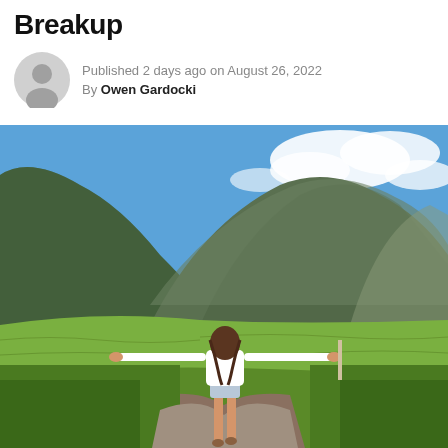Breakup
Published 2 days ago on August 26, 2022
By Owen Gardocki
[Figure (photo): A woman standing on a dirt road with arms outstretched, facing away from camera toward a landscape of green hills and mountains under a blue sky with clouds.]